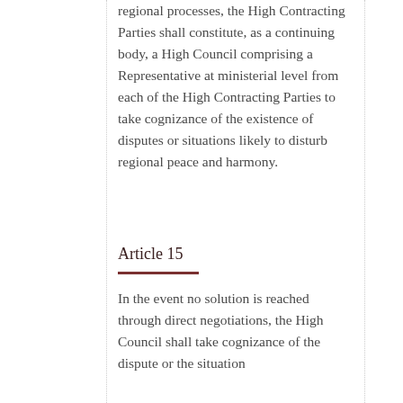regional processes, the High Contracting Parties shall constitute, as a continuing body, a High Council comprising a Representative at ministerial level from each of the High Contracting Parties to take cognizance of the existence of disputes or situations likely to disturb regional peace and harmony.
Article 15
In the event no solution is reached through direct negotiations, the High Council shall take cognizance of the dispute or the situation and shall recommend to the